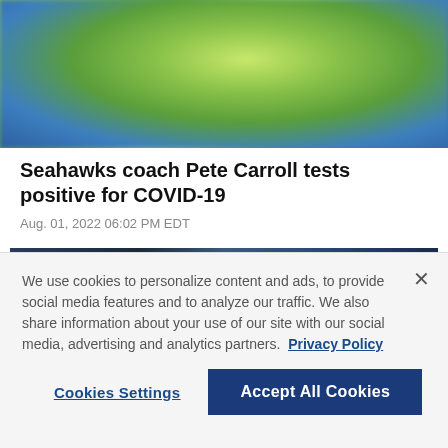[Figure (photo): Blurred photo of a person wearing a green/lime colored shirt or jersey, with blue/purple blurred background]
Seahawks coach Pete Carroll tests positive for COVID-19
Aug. 01, 2022 06:02 PM EDT
[Figure (photo): Stadium scoreboard or display showing 'COUNTDOWN TO KICKOFF' text in lime green letters on dark blue background, with timer showing 18:39 in top right corner. Saints and Seahawks logos visible on left side.]
We use cookies to personalize content and ads, to provide social media features and to analyze our traffic. We also share information about your use of our site with our social media, advertising and analytics partners. Privacy Policy
Cookies Settings
Accept All Cookies